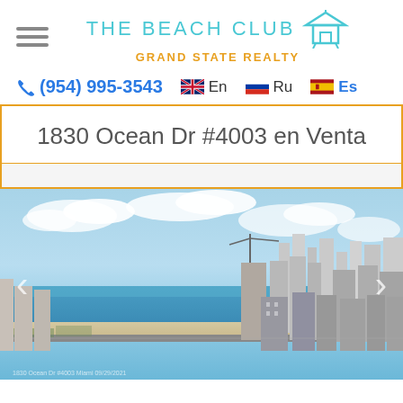THE BEACH CLUB | GRAND STATE REALTY
(954) 995-3543  En  Ru  Es
1830 Ocean Dr #4003 en Venta
[Figure (photo): Aerial view of oceanfront city with beach, ocean, and high-rise buildings under construction, sunny day with blue sky and scattered clouds.]